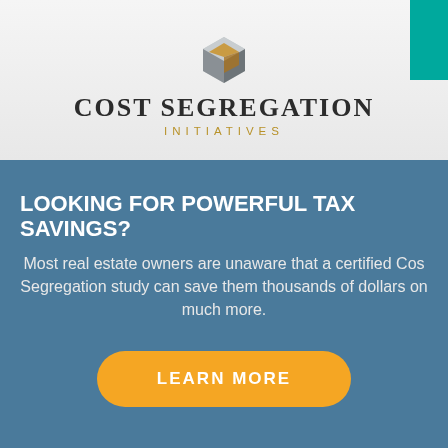[Figure (logo): Cost Segregation Initiatives logo with a golden/silver 3D cube icon above the company name]
LOOKING FOR POWERFUL TAX SAVINGS?
Most real estate owners are unaware that a certified Cost Segregation study can save them thousands of dollars on much more.
LEARN MORE